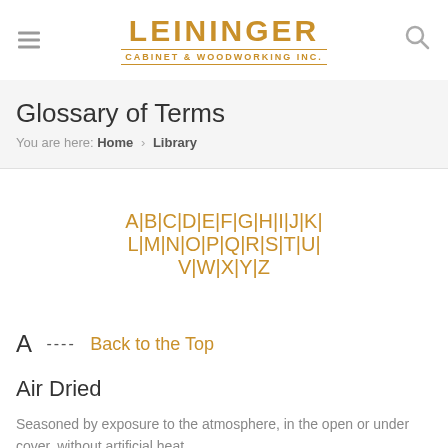LEININGER CABINET & WOODWORKING INC.
Glossary of Terms
You are here: Home › Library
A | B | C | D | E | F | G | H | I | J | K | L | M | N | O | P | Q | R | S | T | U | V | W | X | Y | Z
A  ----  Back to the Top
Air Dried
Seasoned by exposure to the atmosphere, in the open or under cover, without artificial heat.